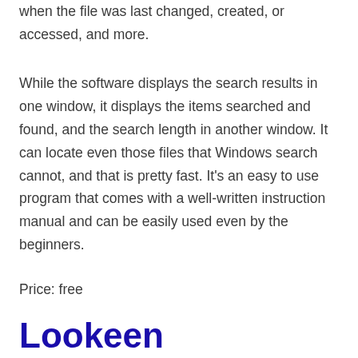when the file was last changed, created, or accessed, and more.
While the software displays the search results in one window, it displays the items searched and found, and the search length in another window. It can locate even those files that Windows search cannot, and that is pretty fast. It’s an easy to use program that comes with a well-written instruction manual and can be easily used even by the beginners.
Price: free
Lookeen